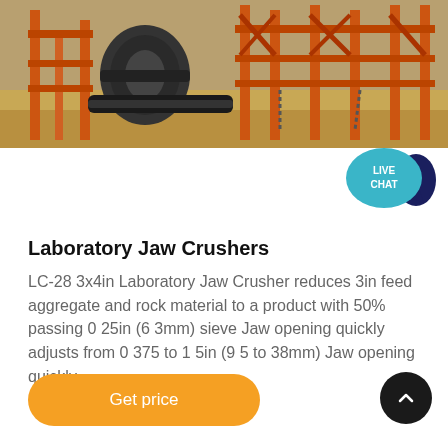[Figure (photo): Industrial jaw crusher machinery with orange metal frames and large cylindrical drum/roller, set against a construction/mining site with sandy terrain.]
[Figure (illustration): Live Chat speech bubble icon — teal/blue circle with white text 'LIVE CHAT' and a chat bubble graphic in dark blue to the right.]
Laboratory Jaw Crushers
LC-28 3x4in Laboratory Jaw Crusher reduces 3in feed aggregate and rock material to a product with 50% passing 0 25in (6 3mm) sieve Jaw opening quickly adjusts from 0 375 to 1 5in (9 5 to 38mm) Jaw opening quickly
[Figure (other): Orange rounded-rectangle button with white text 'Get price']
[Figure (other): Black circular scroll-to-top button with white upward chevron arrow]